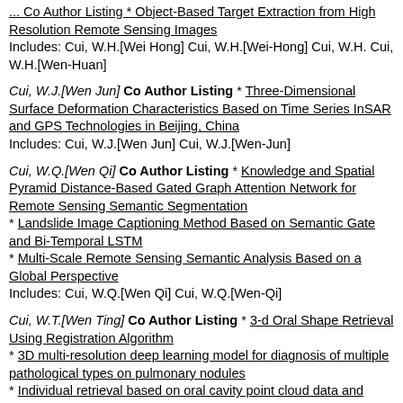... Co Author Listing * Object-Based Target Extraction from High Resolution Remote Sensing Images
Includes: Cui, W.H.[Wei Hong] Cui, W.H.[Wei-Hong] Cui, W.H. Cui, W.H.[Wen-Huan]
Cui, W.J.[Wen Jun] Co Author Listing * Three-Dimensional Surface Deformation Characteristics Based on Time Series InSAR and GPS Technologies in Beijing, China
Includes: Cui, W.J.[Wen Jun] Cui, W.J.[Wen-Jun]
Cui, W.Q.[Wen Qi] Co Author Listing * Knowledge and Spatial Pyramid Distance-Based Gated Graph Attention Network for Remote Sensing Semantic Segmentation
* Landslide Image Captioning Method Based on Semantic Gate and Bi-Temporal LSTM
* Multi-Scale Remote Sensing Semantic Analysis Based on a Global Perspective
Includes: Cui, W.Q.[Wen Qi] Cui, W.Q.[Wen-Qi]
Cui, W.T.[Wen Ting] Co Author Listing * 3-d Oral Shape Retrieval Using Registration Algorithm
* 3D multi-resolution deep learning model for diagnosis of multiple pathological types on pulmonary nodules
* Individual retrieval based on oral cavity point cloud data and correntropy-based registration algorithm
* Robust and precise isotropic scaling registration algorithm